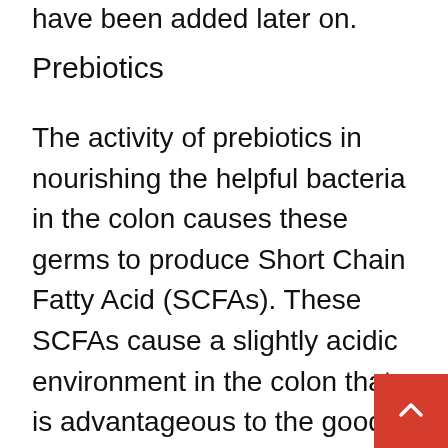have been added later on.
Prebiotics
The activity of prebiotics in nourishing the helpful bacteria in the colon causes these germs to produce Short Chain Fatty Acid (SCFAs). These SCFAs cause a slightly acidic environment in the colon that is advantageous to the good bacteria but brings down the development of the bad bacteria, and they prefer basic to alkaline environment. There is, nonetheless, inadequate study that shows whether probiotics also produce SCFAs.